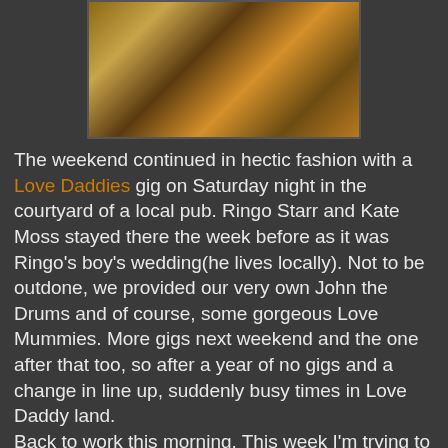[Figure (photo): Close-up photo of a ceramic pottery piece with brown and amber glazing and decorative patterns]
The weekend continued in hectic fashion with a Love Daddies gig on Saturday night in the courtyard of a local pub. Ringo Starr and Kate Moss stayed there the week before as it was Ringo's boy's wedding(he lives locally). Not to be outdone, we provided our very own John the Drums and of course, some gorgeous Love Mummies. More gigs next weekend and the one after that too, so after a year of no gigs and a change in line up, suddenly busy times in Love Daddy land.
Back to work this morning. This week I'm trying to get my little display room sorted out and the woodshed finished. I have the Westcountry Potters Association coming for a day of demos in a few weeks time and I want the whole place finished and operating in a systematic manner before they come, so I'm concentrating on that before making more pots. I'm also making some more tiles this week for an order I've been working on for a while, 30 done, 20 to go, won't be long Dave and Sue!...